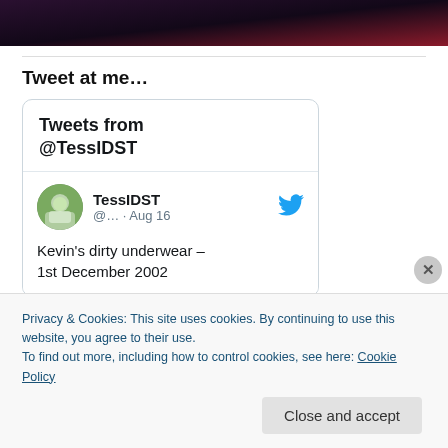[Figure (photo): Dark/purple-toned image at top of page, partial view]
Tweet at me…
[Figure (screenshot): Embedded Twitter widget showing 'Tweets from @TessIDST' with a tweet from TessIDST (@...) dated Aug 16 reading: Kevin's dirty underwear – 1st December 2002]
Privacy & Cookies: This site uses cookies. By continuing to use this website, you agree to their use.
To find out more, including how to control cookies, see here: Cookie Policy
Close and accept